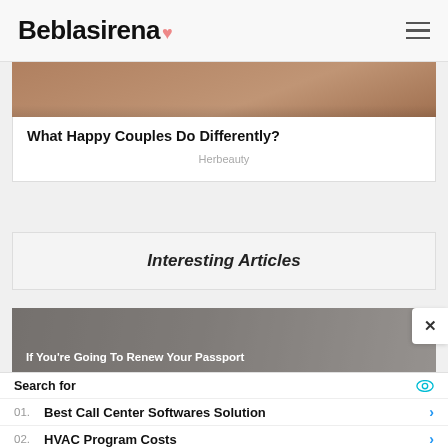Beblasirena
[Figure (photo): Top portion of an article card showing a couple photo (cropped, mostly brown/warm tones)]
What Happy Couples Do Differently?
Herbeauty
Interesting Articles
[Figure (photo): Article card showing a passport and travel items with overlay text: If You're Going To Renew Your Passport]
If You're Going To Renew Your Passport
Search for
01. Best Call Center Softwares Solution
02. HVAC Program Costs
Yahoo! Search | Sponsored